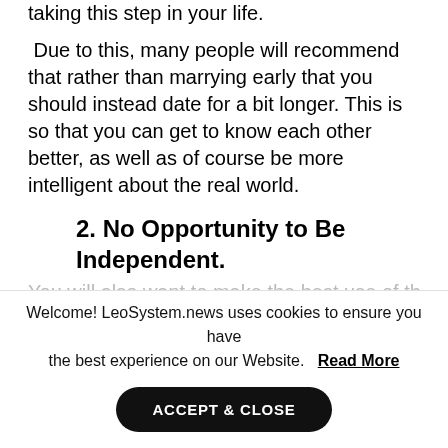taking this step in your life.
Due to this, many people will recommend that rather than marrying early that you should instead date for a bit longer. This is so that you can get to know each other better, as well as of course be more intelligent about the real world.
2. No Opportunity to Be Independent.
[partially visible text]
Welcome! LeoSystem.news uses cookies to ensure you have the best experience on our Website. Read More
ACCEPT & CLOSE